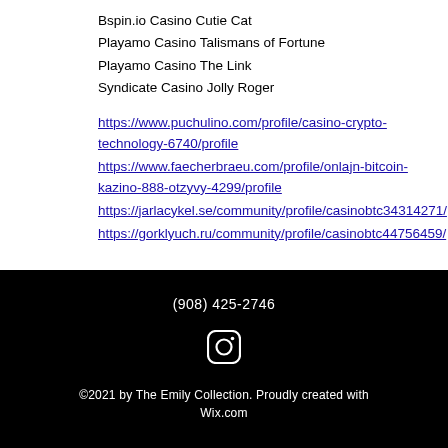Bspin.io Casino Cutie Cat
Playamo Casino Talismans of Fortune
Playamo Casino The Link
Syndicate Casino Jolly Roger
https://www.puchulino.com/profile/casino-crypto-technology-6740/profile
https://www.faecherbraeu.com/profile/onlajn-bitcoin-kazino-888-otzyvy-4299/profile
https://jarlacykel.se/community/profile/casinobtc34314271/
https://gorklyuch.ru/community/profile/casinobtc44756459/
(908) 425-2746
©2021 by The Emily Collection. Proudly created with Wix.com